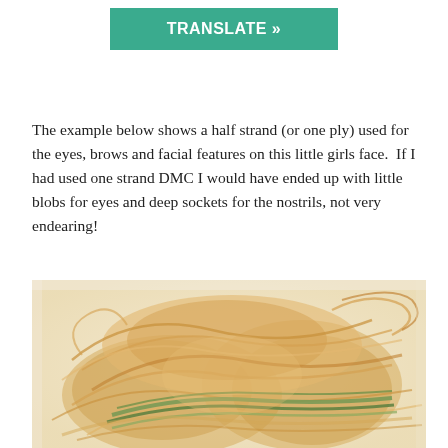[Figure (other): Green teal button with white bold text reading TRANSLATE »]
The example below shows a half strand (or one ply) used for the eyes, brows and facial features on this little girls face.  If I had used one strand DMC I would have ended up with little blobs for eyes and deep sockets for the nostrils, not very endearing!
[Figure (photo): Close-up photograph of embroidery thread/floss in golden/tan colors with a green strand woven through it, lying on a white fabric background]